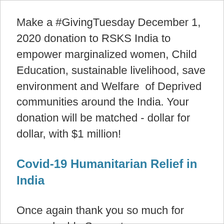Make a #GivingTuesday December 1, 2020 donation to RSKS India to empower marginalized women, Child Education, sustainable livelihood, save environment and Welfare  of Deprived communities around the India. Your donation will be matched - dollar for dollar, with $1 million!
Covid-19 Humanitarian Relief in India
Once again thank you so much for your valuable Support.